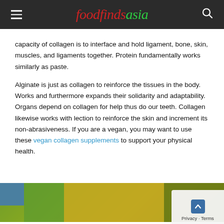foodfindsasia
capacity of collagen is to interface and hold ligament, bone, skin, muscles, and ligaments together. Protein fundamentally works similarly as paste.
Alginate is just as collagen to reinforce the tissues in the body. Works and furthermore expands their solidarity and adaptability. Organs depend on collagen for help thus do our teeth. Collagen likewise works with lection to reinforce the skin and increment its non-abrasiveness. If you are a vegan, you may want to use these vegan collagen supplements to support your physical health.
[Figure (photo): Bottom portion of page showing a food image with green and yellow tones, partially visible, with a privacy/terms overlay in the bottom right corner.]